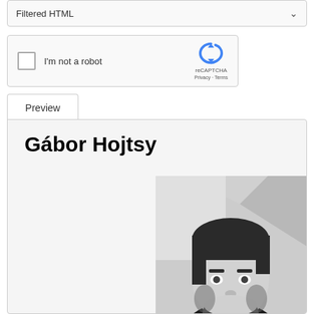Filtered HTML
[Figure (screenshot): reCAPTCHA widget with checkbox labeled 'I'm not a robot' and reCAPTCHA logo with Privacy and Terms links]
Preview
Gábor Hojtsy
[Figure (photo): Black and white portrait photo of Gábor Hojtsy, a man with dark hair and beard, smiling, wearing a dark t-shirt, photographed indoors with architectural elements in the background]